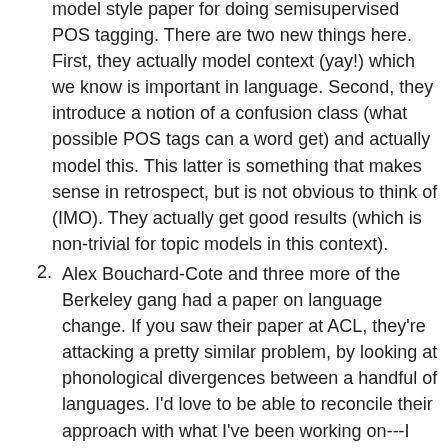(continuation of item 1) model style paper for doing semisupervised POS tagging. There are two new things here. First, they actually model context (yay!) which we know is important in language. Second, they introduce a notion of a confusion class (what possible POS tags can a word get) and actually model this. This latter is something that makes sense in retrospect, but is not obvious to think of (IMO). They actually get good results (which is non-trivial for topic models in this context).
2. Alex Bouchard-Cote and three more of the Berkeley gang had a paper on language change. If you saw their paper at ACL, they're attacking a pretty similar problem, by looking at phonological divergences between a handful of languages. I'd love to be able to reconcile their approach with what I've been working on---I use a huge database of typological knowledge; they use word forms...I'd love to use both, but I really like working with thousands of languages and it's hard to find corpora for all of these :).
3. John Blitzer had a good paper (with other Penn folks) on learning bounds for domain adaptation. If you care